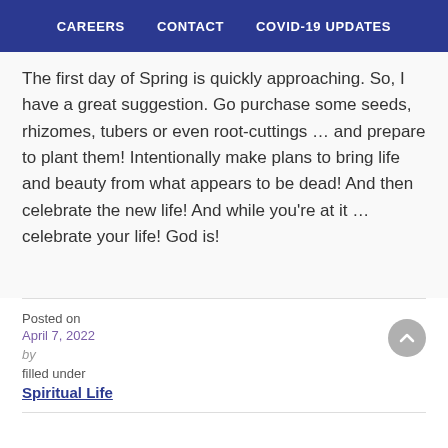CAREERS   CONTACT   COVID-19 UPDATES
The first day of Spring is quickly approaching. So, I have a great suggestion. Go purchase some seeds, rhizomes, tubers or even root-cuttings … and prepare to plant them! Intentionally make plans to bring life and beauty from what appears to be dead! And then celebrate the new life! And while you're at it … celebrate your life! God is!
Posted on
April 7, 2022
by
filled under
Spiritual Life